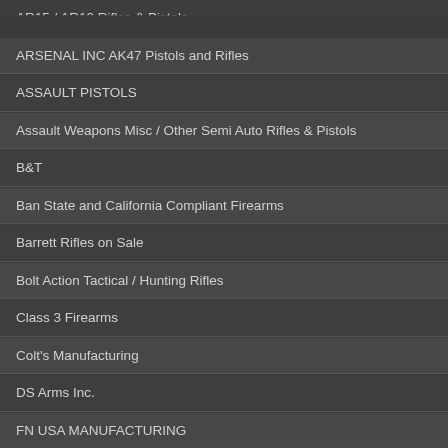AR15 / AR10 Rifles & Pistols
ARSENAL INC AK47 Pistols and Rifles
ASSAULT PISTOLS
Assault Weapons Misc / Other Semi Auto Rifles & Pistols
B&T
Ban State and California Compliant Firearms
Barrett Rifles on Sale
Bolt Action Tactical / Hunting Rifles
Class 3 Firearms
Colt's Manufacturing
DS Arms Inc.
FN USA MANUFACTURING
Heckler & Koch Rifles & Pistols
HK 94, MP5, 93, 91 , and SP89 VARIANTS
IMI & IWI ISRAEL UZI Licensed Pistols, Carbines and PreBan Weapons
IWI Talit Dismayed DAD